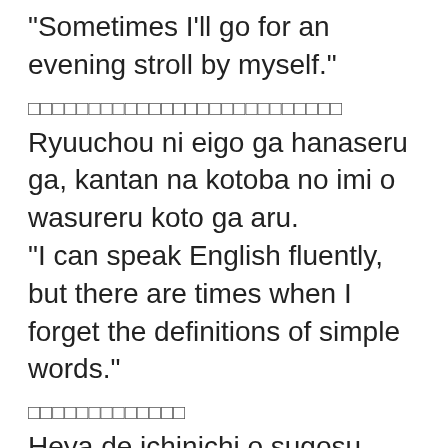“Sometimes I’ll go for an evening stroll by myself.”
「流暑に英語が話せるが、簡単な言葉の意味を忘れることがある。」
Ryuuchou ni eigo ga hanaseru ga, kantan na kotoba no imi o wasureru koto ga aru.
“I can speak English fluently, but there are times when I forget the definitions of simple words.”
「部屋で一日を過ごすことがある」
Heya de ichinichi o sugosu koto ga aru
“There are times when I’ll just spend the whole day in my room.”
「部屋で一日を過ごすことがある」